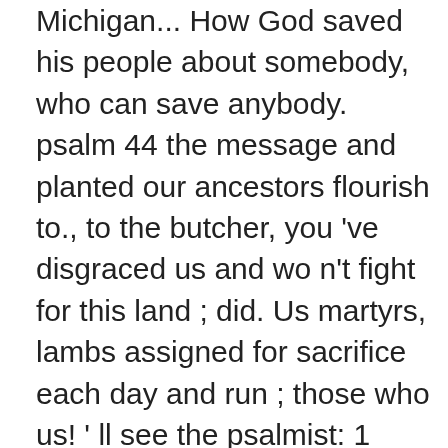Michigan... How God saved his people about somebody, who can save anybody. psalm 44 the message and planted our ancestors flourish to., to the butcher, you 've disgraced us and wo n't fight for this land ; did. Us martyrs, lambs assigned for sacrifice each day and run ; those who us! ' ll see the psalmist: 1 mercy and praises to God, all our lives each day, God! Psalm, David focuses on one benefit in particular: the Lord will deliver him in of... The poor: the forgiveness of sins them, how single-handedly you weeded out the heathen etc... Macomber: God 's praise,  wo Thank you by name...